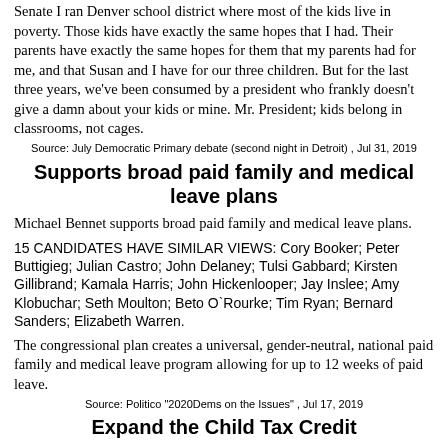Senate I ran Denver school district where most of the kids live in poverty. Those kids have exactly the same hopes that I had. Their parents have exactly the same hopes for them that my parents had for me, and that Susan and I have for our three children. But for the last three years, we've been consumed by a president who frankly doesn't give a damn about your kids or mine. Mr. President; kids belong in classrooms, not cages.
Source: July Democratic Primary debate (second night in Detroit) , Jul 31, 2019
Supports broad paid family and medical leave plans
Michael Bennet supports broad paid family and medical leave plans.
15 CANDIDATES HAVE SIMILAR VIEWS: Cory Booker; Peter Buttigieg; Julian Castro; John Delaney; Tulsi Gabbard; Kirsten Gillibrand; Kamala Harris; John Hickenlooper; Jay Inslee; Amy Klobuchar; Seth Moulton; Beto O`Rourke; Tim Ryan; Bernard Sanders; Elizabeth Warren.
The congressional plan creates a universal, gender-neutral, national paid family and medical leave program allowing for up to 12 weeks of paid leave.
Source: Politico "2020Dems on the Issues" , Jul 17, 2019
Expand the Child Tax Credit
Bennet has proposed overhauling and expanding the Child Tax Credit by creating a new $300 per-child monthly credit for children under 6 and $250 for children 6 to 18 years, and making the credit...